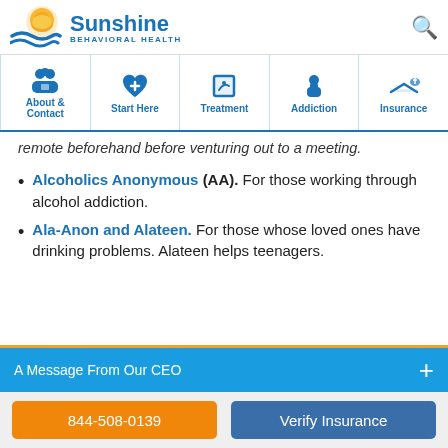Sunshine Behavioral Health
[Figure (logo): Sunshine Behavioral Health logo with sun and waves graphic]
[Figure (infographic): Navigation bar with icons: About & Contact, Start Here, Treatment, Addiction, Insurance]
remote beforehand before venturing out to a meeting.
Alcoholics Anonymous (AA). For those working through alcohol addiction.
Ala-Anon and Alateen. For those whose loved ones have drinking problems. Alateen helps teenagers.
A Message From Our CEO
844-508-0139
Verify Insurance